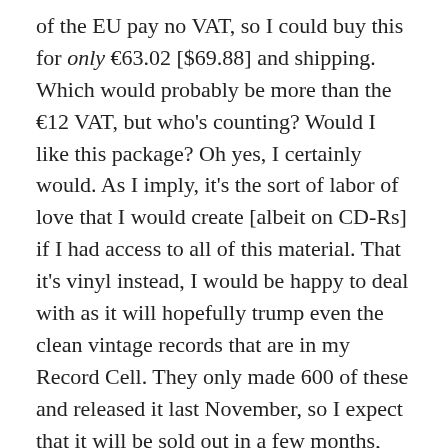of the EU pay no VAT, so I could buy this for only €63.02 [$69.88] and shipping. Which would probably be more than the €12 VAT, but who's counting? Would I like this package? Oh yes, I certainly would. As I imply, it's the sort of labor of love that I would create [albeit on CD-Rs] if I had access to all of this material. That it's vinyl instead, I would be happy to deal with as it will hopefully trump even the clean vintage records that are in my Record Cell. They only made 600 of these and released it last November, so I expect that it will be sold out in a few months, but for now, it can be purchased here.
– 30 –
Share this: